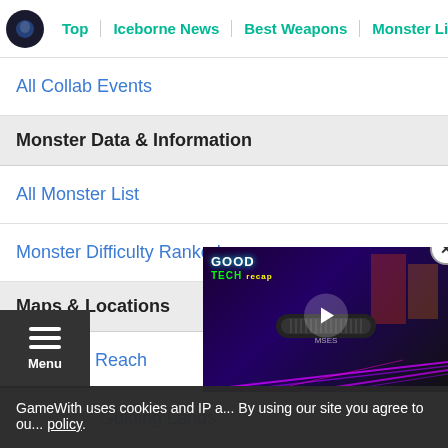Top | Iceborne News | Best Weapons | Monster List
All Collab Events
Monster Data & Information
All Monster List
Monster Difficulty Ranked
Maps & Locations
Hoarfrost Reach
Guiding Lands
Ancient Forest
GameWith uses cookies and IP a... By using our site you agree to ou... policy.
[Figure (screenshot): Video player overlay with GoodTech recap thumbnail, play button and close button]